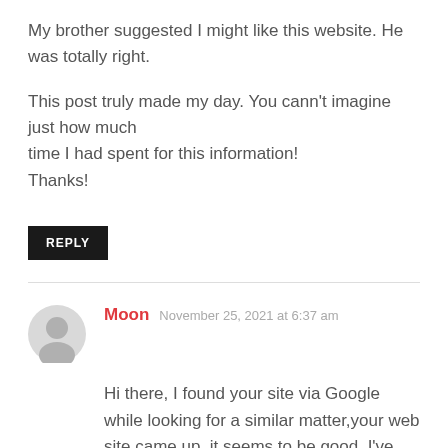My brother suggested I might like this website. He was totally right.

This post truly made my day. You cann't imagine just how much time I had spent for this information! Thanks!
REPLY
Moon  November 25, 2021 at 6:37 am
Hi there, I found your site via Google while looking for a similar matter,your web site came up, it seems to be good. I've